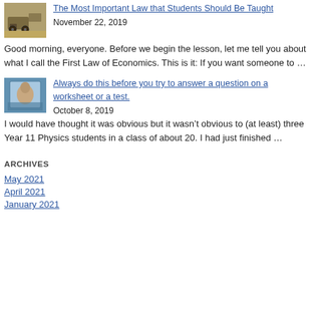[Figure (photo): Small thumbnail image of machinery/mechanical object in sandy environment]
The Most Important Law that Students Should Be Taught
November 22, 2019
Good morning, everyone. Before we begin the lesson, let me tell you about what I call the First Law of Economics. This is it: If you want someone to …
[Figure (photo): Small thumbnail image of a person seen through glass/window]
Always do this before you try to answer a question on a worksheet or a test.
October 8, 2019
I would have thought it was obvious but it wasn't obvious to (at least) three Year 11 Physics students in a class of about 20. I had just finished …
ARCHIVES
May 2021
April 2021
January 2021